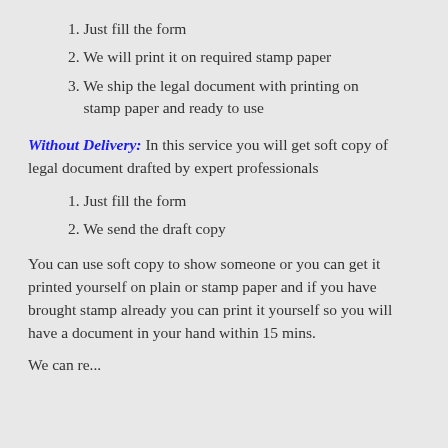1. Just fill the form
2. We will print it on required stamp paper
3. We ship the legal document with printing on stamp paper and ready to use
Without Delivery: In this service you will get soft copy of legal document drafted by expert professionals
1. Just fill the form
2. We send the draft copy
You can use soft copy to show someone or you can get it printed yourself on plain or stamp paper and if you have brought stamp already you can print it yourself so you will have a document in your hand within 15 mins.
We can re...